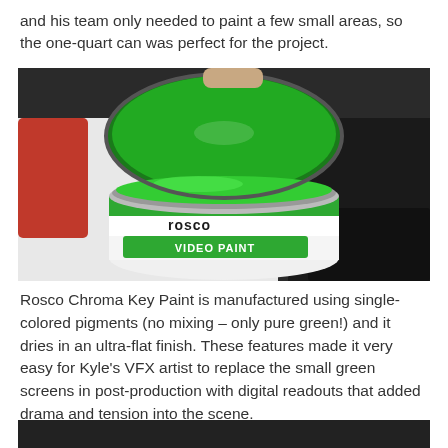and his team only needed to paint a few small areas, so the one-quart can was perfect for the project.
[Figure (photo): Open can of Rosco green chroma key Video Paint, showing bright green paint inside the can lid open, with the Rosco brand label and 'VIDEO PAINT' label visible on the side of the can.]
Rosco Chroma Key Paint is manufactured using single-colored pigments (no mixing – only pure green!) and it dries in an ultra-flat finish. These features made it very easy for Kyle's VFX artist to replace the small green screens in post-production with digital readouts that added drama and tension into the scene.
[Figure (photo): Partial bottom image visible, dark/low-light scene.]